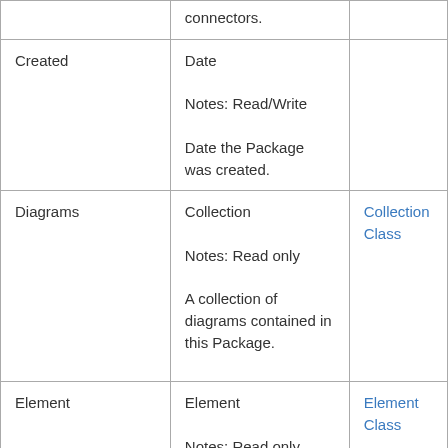|  |  |  |
| --- | --- | --- |
|  | connectors. |  |
| Created | Date

Notes: Read/Write

Date the Package was created. |  |
| Diagrams | Collection

Notes: Read only

A collection of diagrams contained in this Package. | Collection Class |
| Element | Element

Notes: Read only

The associated | Element Class |